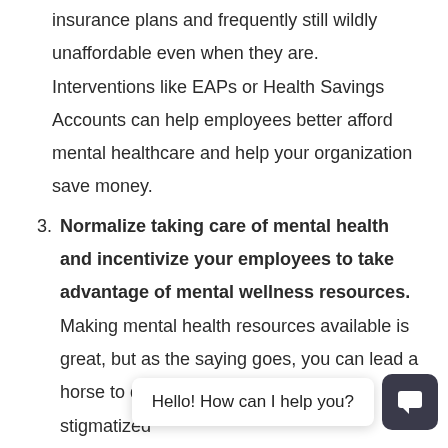insurance plans and frequently still wildly unaffordable even when they are. Interventions like EAPs or Health Savings Accounts can help employees better afford mental healthcare and help your organization save money.
3. Normalize taking care of mental health and incentivize your employees to take advantage of mental wellness resources. Making mental health resources available is great, but as the saying goes, you can lead a horse to [water but you can't make it] drink. Mental illness is deeply stigmatized